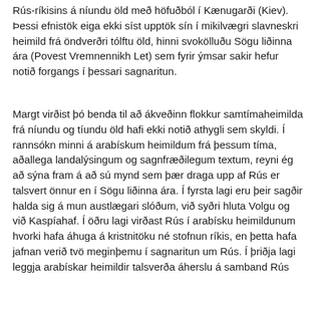Rús-ríkisins á níundu öld með höfuðból í Kænugarði (Kiev). Þessi efnistök eiga ekki síst upptök sín í mikilvægri slavneskri heimild frá öndverðri tólftu öld, hinni svokölluðu Sögu liðinna ára (Povest Vremnennikh Let) sem fyrir ýmsar sakir hefur notið forgangs í þessari sagnaritun.
Margt virðist þó benda til að ákveðinn flokkur samtímaheimilda frá níundu og tíundu öld hafi ekki notið athygli sem skyldi. Í rannsókn minni á arabískum heimildum frá þessum tíma, aðallega landalýsingum og sagnfræðilegum textum, reyni ég að sýna fram á að sú mynd sem þær draga upp af Rús er talsvert önnur en í Sögu liðinna ára. Í fyrsta lagi eru þeir sagðir halda sig á mun austlægari slóðum, við syðri hluta Volgu og við Kaspíahaf. Í öðru lagi virðast Rús í arabísku heimildunum hvorki hafa áhuga á kristnitöku né stofnun ríkis, en þetta hafa jafnan verið tvö meginþemu í sagnaritun um Rús. Í þriðja lagi leggja arabískar heimildir talsverða áherslu á samband Rús